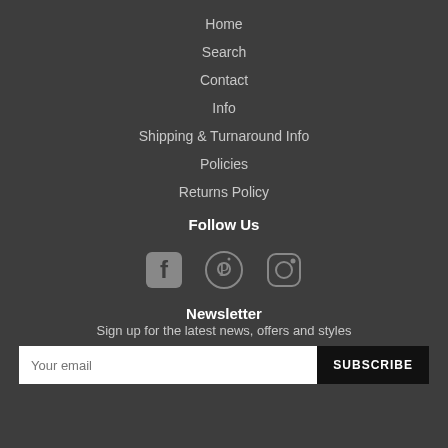Home
Search
Contact
Info
Shipping & Turnaround Info
Policies
Returns Policy
Follow Us
[Figure (infographic): Social media icons: Facebook, Pinterest, Instagram]
Newsletter
Sign up for the latest news, offers and styles
Your email | SUBSCRIBE